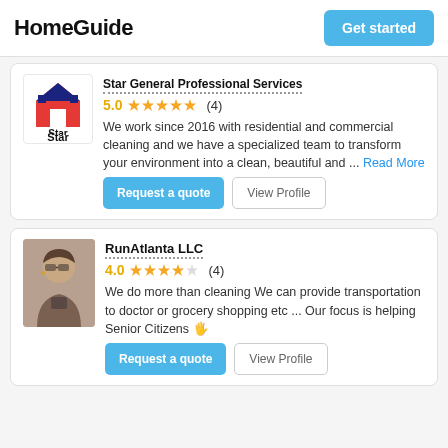HomeGuide | Get started
Star General Professional Services
5.0 ★★★★★ (4)
We work since 2016 with residential and commercial cleaning and we have a specialized team to transform your environment into a clean, beautiful and ... Read More
Request a quote | View Profile
RunAtlanta LLC
4.0 ★★★★☆ (4)
We do more than cleaning We can provide transportation to doctor or grocery shopping etc ... Our focus is helping Senior Citizens 🖐
Request a quote | View Profile